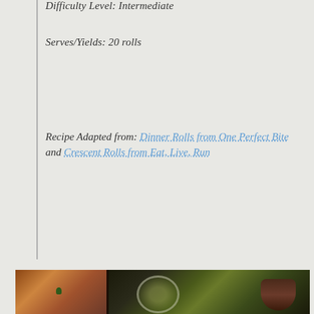Difficulty Level: Intermediate
Serves/Yields: 20 rolls
Recipe Adapted from: Dinner Rolls from One Perfect Bite and Crescent Rolls from Eat, Live, Run
[Figure (photo): Two photos side by side: left shows a baked crescent/dinner roll with a green herb on top on a dark surface; right shows a glass measuring cup with liquid (oil/butter) being poured, and a hand visible on the right side.]